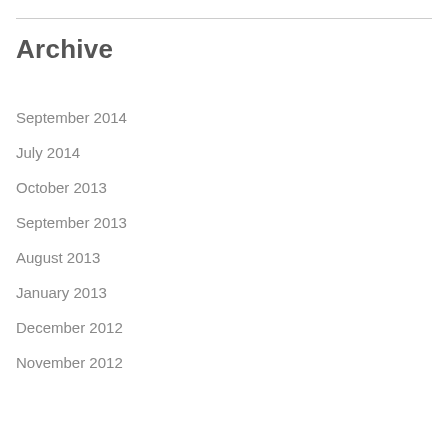Archive
September 2014
July 2014
October 2013
September 2013
August 2013
January 2013
December 2012
November 2012